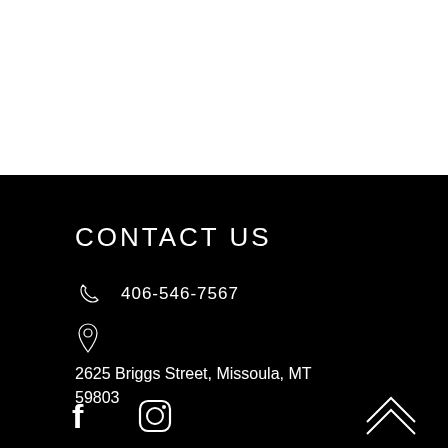CONTACT US
406-546-7567
2625 Briggs Street, Missoula, MT 59803
[Figure (other): Facebook and Instagram social media icons in white on black background]
[Figure (other): Double chevron/arrow up icon in white, bottom right corner]